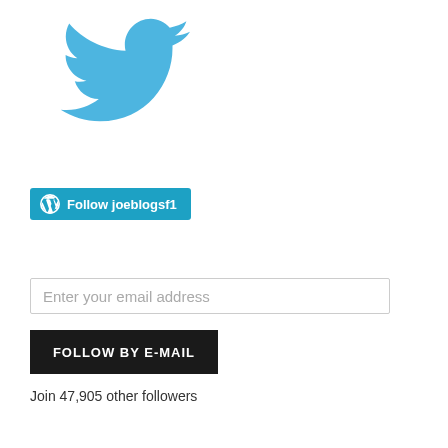[Figure (logo): Twitter bird logo in blue]
[Figure (screenshot): WordPress Follow button with text 'Follow joeblogsf1' on teal background]
Enter your email address
FOLLOW BY E-MAIL
Join 47,905 other followers